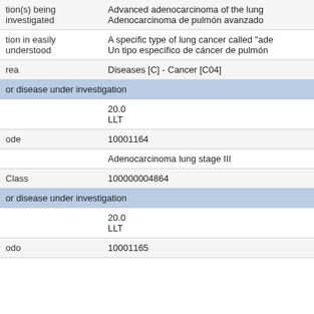| tion(s) being investigated | Advanced adenocarcinoma of the lung
Adenocarcinoma de pulmón avanzado |
| tion in easily understood | A specific type of lung cancer called "ade...
Un tipo específico de cáncer de pulmón ... |
| rea | Diseases [C] - Cancer [C04] |
| or disease under investigation |  |
|  | 20.0
LLT |
| ode | 10001164 |
|  | Adenocarcinoma lung stage III |
| Class | 100000004864 |
| or disease under investigation |  |
|  | 20.0
LLT |
| odo | 10001165 |